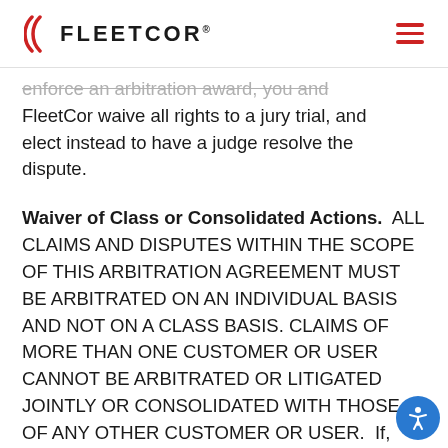FLEETCOR
enforce an arbitration award, you and FleetCor waive all rights to a jury trial, and elect instead to have a judge resolve the dispute.
Waiver of Class or Consolidated Actions.  ALL CLAIMS AND DISPUTES WITHIN THE SCOPE OF THIS ARBITRATION AGREEMENT MUST BE ARBITRATED ON AN INDIVIDUAL BASIS AND NOT ON A CLASS BASIS. CLAIMS OF MORE THAN ONE CUSTOMER OR USER CANNOT BE ARBITRATED OR LITIGATED JOINTLY OR CONSOLIDATED WITH THOSE OF ANY OTHER CUSTOMER OR USER.  If, however, this waiver of class or